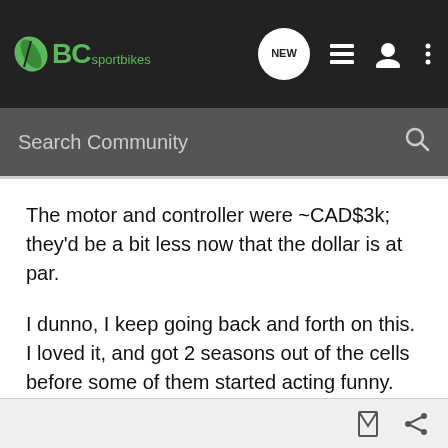BC sportbikes — Search Community
The motor and controller were ~CAD$3k; they'd be a bit less now that the dollar is at par.
I dunno, I keep going back and forth on this. I loved it, and got 2 seasons out of the cells before some of them started acting funny. Most are still OK; I stopped riding it so I wouldn't cook the whole pack. But it's *months* of work to re-make and re-wire the battery racks, which were integral to the bike's design.
Robyn